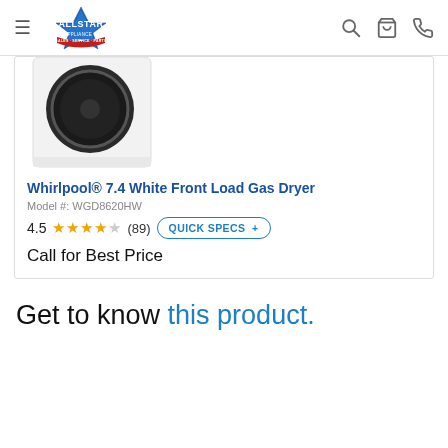Allstar Home Appliance Center
[Figure (photo): Product image of Whirlpool front load gas dryer - white appliance with dark circular door, partially cropped]
Whirlpool® 7.4 White Front Load Gas Dryer
Model #: WGD8620HW
4.5 stars (89) QUICK SPECS +
Call for Best Price
Get to know this product.